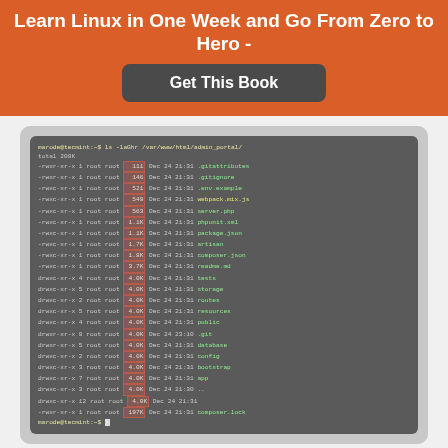Learn Linux in One Week and Go From Zero to Hero -
Get This Book
[Figure (screenshot): Terminal screenshot showing output of 'ls -laGhr /var/www/html/admin_portal/' command listing files and directories sorted by size in reverse order with file permissions, owner, size, date, and filename columns. The size column is highlighted in a red/pink overlay box.]
List All Files Sort By Sizes in Reverse Order